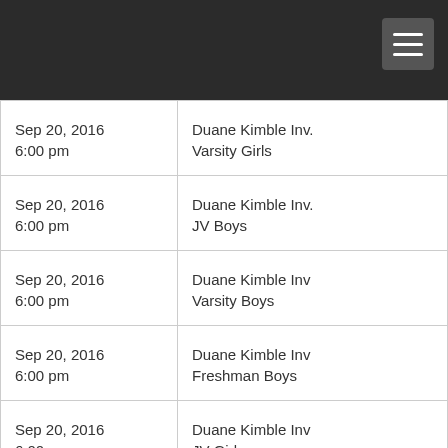| Date/Time | Event |
| --- | --- |
| Sep 20, 2016
6:00 pm | Duane Kimble Inv.
Varsity Girls |
| Sep 20, 2016
6:00 pm | Duane Kimble Inv.
JV Boys |
| Sep 20, 2016
6:00 pm | Duane Kimble Inv
Varsity Boys |
| Sep 20, 2016
6:00 pm | Duane Kimble Inv
Freshman Boys |
| Sep 20, 2016
6:00 pm | Duane Kimble Inv
JV Girls |
| Sep 20, 2016
7:30 am | Heartland 30K Series Standings |